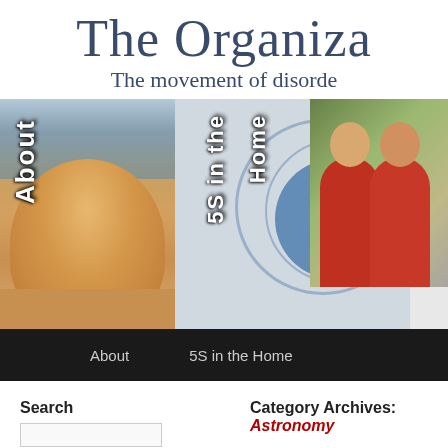The Organiza
The movement of disorde
[Figure (screenshot): Navigation images: About (photo of woman smiling), 5S in the Home (circular diagram with blue circle), Radio (photo of two people in red jackets outdoors). Each image has a rotated text label overlay.]
About   5S in the Home
Search
Category Archives: Astronomy